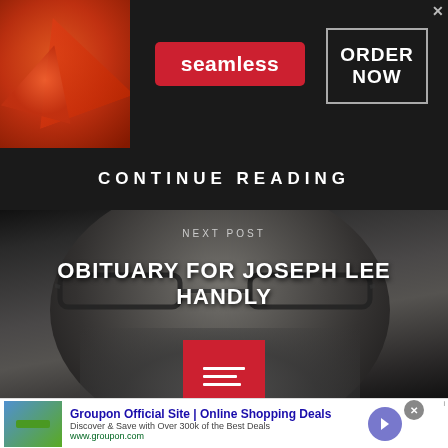[Figure (screenshot): Seamless food delivery advertisement banner with pizza image on left, Seamless red logo badge in center, and ORDER NOW button with close X on dark background]
CONTINUE READING
[Figure (photo): Next post preview section showing a man with glasses and gray beard against a dark background, with NEXT POST label, obituary title, and red menu button]
OBITUARY FOR JOSEPH LEE HANDLY
[Figure (screenshot): Groupon advertisement banner: Groupon Official Site | Online Shopping Deals - Discover & Save with Over 300k of the Best Deals - www.groupon.com]